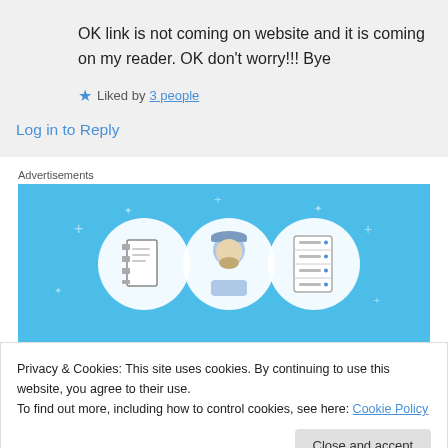OK link is not coming on website and it is coming on my reader. OK don't worry!!! Bye
★ Liked by 3 people
Log in to Reply
Advertisements
[Figure (illustration): Blue advertisement banner with illustrated icons: a notebook, a person with a hard hat, and a server/list device, with sparkle decorations on a light blue background]
Privacy & Cookies: This site uses cookies. By continuing to use this website, you agree to their use.
To find out more, including how to control cookies, see here: Cookie Policy
Close and accept